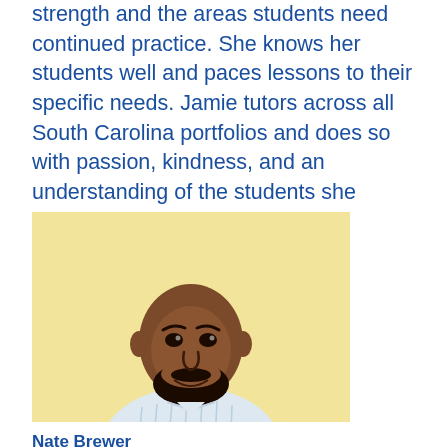strength and the areas students need continued practice. She knows her students well and paces lessons to their specific needs. Jamie tutors across all South Carolina portfolios and does so with passion, kindness, and an understanding of the students she serves.”
[Figure (photo): Headshot of a smiling man with a beard wearing a light-colored striped shirt against a pale yellow background]
Nate Brewer
Reading Partners SE Bay Area